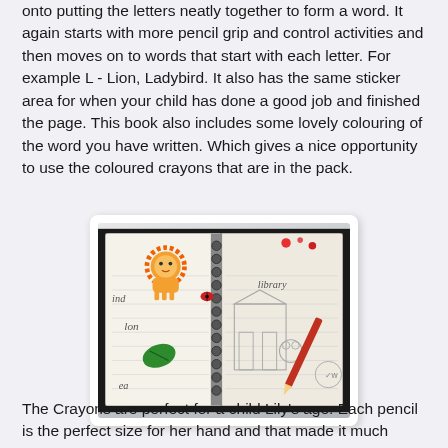onto putting the letters neatly together to form a word. It again starts with more pencil grip and control activities and then moves on to words that start with each letter. For example L - Lion, Ladybird. It also has the same sticker area for when your child has done a good job and finished the page. This book also includes some lovely colouring of the word you have written. Which gives a nice opportunity to use the coloured crayons that are in the pack.
[Figure (photo): Open spiral-bound children's handwriting workbook showing pages with ruled lines, illustrated with a pink/orange lion, green leaf, ladybird stickers, words 'lion', 'library', 'lea' written in dotted/tracing style, and a coloring section of a library building with a dog character. A red pencil rests on the right page.]
The Crayons are perfect for a child Lily's age. Each pencil is the perfect size for her hand and that made it much easier to control what she was doing, the pack comes with 12